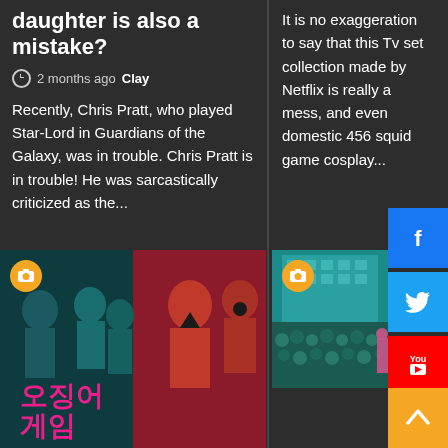daughter is also a mistake?
2 months ago  Clay
Recently, Chris Pratt, who played Star-Lord in Guardians of the Galaxy, was in trouble. Chris Pratt is in trouble! He was sarcastically criticized as the...
It is no exaggeration to say that this Tv set collection made by Netflix is really a mess, and even domestic 456 squid game cosplay...
[Figure (photo): Squid Game Netflix promotional collage with Korean characters and costumed figures]
[Figure (photo): Crowd of people in teal/green tracksuits from Squid Game with teal building background]